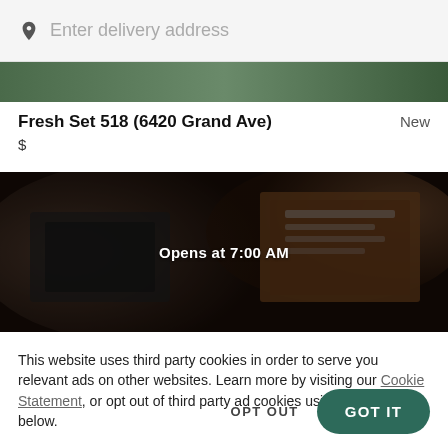Enter delivery address
[Figure (photo): Thin green/dark banner image strip at the top of the restaurant listing]
Fresh Set 518 (6420 Grand Ave)   New
$
[Figure (photo): Dark photo of food containers and boxes; overlay text reads 'Opens at 7:00 AM']
This website uses third party cookies in order to serve you relevant ads on other websites. Learn more by visiting our Cookie Statement, or opt out of third party ad cookies using the button below.
OPT OUT
GOT IT